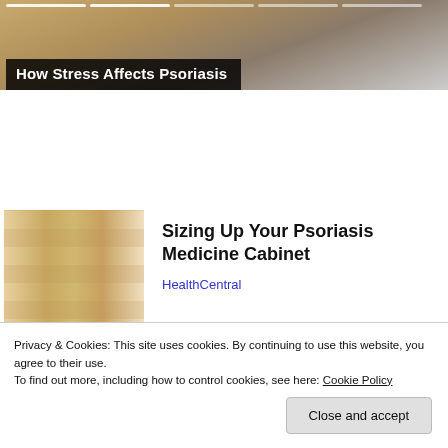[Figure (screenshot): Top banner image showing 'How Stress Affects Psoriasis' title overlay on a photo with progress bars at top]
How Stress Affects Psoriasis
[Figure (photo): Woman in a plaid shirt crouching in a pharmacy/store aisle looking at products on shelves]
Sizing Up Your Psoriasis Medicine Cabinet
HealthCentral
[Figure (photo): Person wearing a dark cowboy hat, partially visible]
Almost Nobody Has Passed This Classic Logo Quiz
Privacy & Cookies: This site uses cookies. By continuing to use this website, you agree to their use.
To find out more, including how to control cookies, see here: Cookie Policy
Close and accept